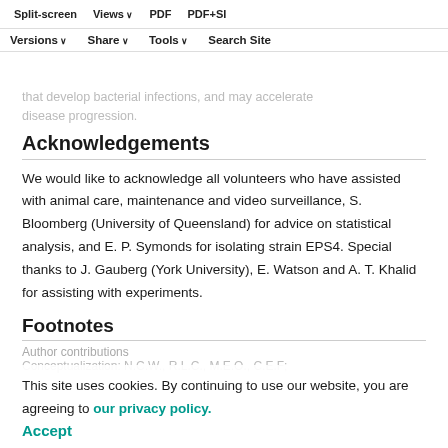Split-screen  Views  PDF  PDF+SI  Versions  Share  Tools  Search Site
that develop bacterial infections, and may accelerate disease progression.
Acknowledgements
We would like to acknowledge all volunteers who have assisted with animal care, maintenance and video surveillance, S. Bloomberg (University of Queensland) for advice on statistical analysis, and E. P. Symonds for isolating strain EPS4. Special thanks to J. Gauberg (York University), E. Watson and A. T. Khalid for assisting with experiments.
Footnotes
This site uses cookies. By continuing to use our website, you are agreeing to our privacy policy.
Accept
Author contributions
Conceptualization: N.C.W., R.L.C., M.E.O., C.E.F;